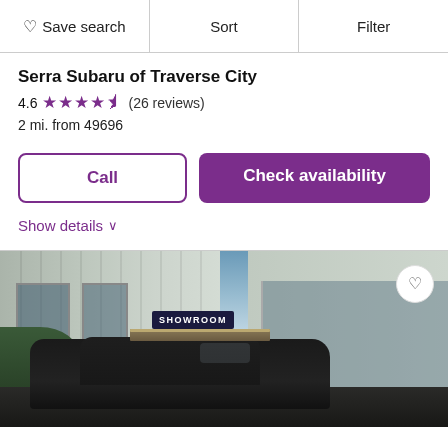♡ Save search  |  Sort  |  Filter
Serra Subaru of Traverse City
4.6 ★★★★½ (26 reviews)
2 mi. from 49696
Call  |  Check availability
Show details ∨
[Figure (photo): Exterior photo of a car dealership showroom with a dark SUV in the foreground and a 'SHOWROOM' sign visible on the building canopy.]